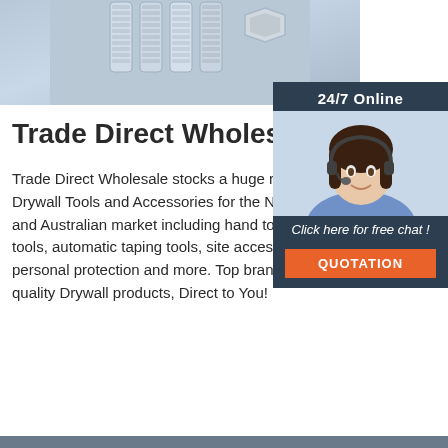[Figure (photo): Photo of metal screws/bolts on a metallic surface, top portion visible]
[Figure (photo): 24/7 Online chat widget with female agent wearing headset, blue shirt, smiling. Contains 'Click here for free chat!' text and QUOTATION button.]
Trade Direct Wholesale N
Trade Direct Wholesale stocks a huge range of Drywall Tools and Accessories for the New Z and Australian market including hand tools, p tools, automatic taping tools, site accessorie personal protection and more. Top branded a quality Drywall products, Direct to You!
Get Price